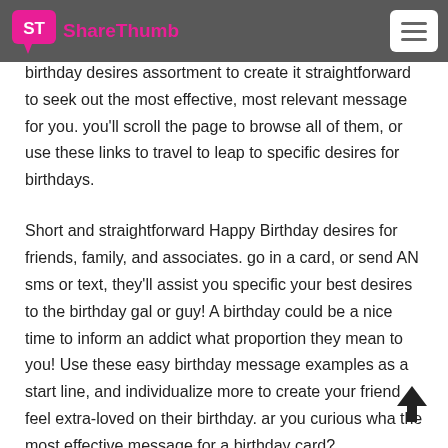ShareThumb
tendency to hope you're galvanized by our massive amount of message concepts and desires for birthdays. this birthday desires assortment to create it straightforward to seek out the most effective, most relevant message for you. you'll scroll the page to browse all of them, or use these links to travel to leap to specific desires for birthdays.
Short and straightforward Happy Birthday desires for friends, family, and associates. go in a card, or send AN sms or text, they'll assist you specific your best desires to the birthday gal or guy! A birthday could be a nice time to inform an addict what proportion they mean to you! Use these easy birthday message examples as a start line, and individualize more to create your friend feel extra-loved on their birthday. ar you curious wha the most effective message for a birthday card?